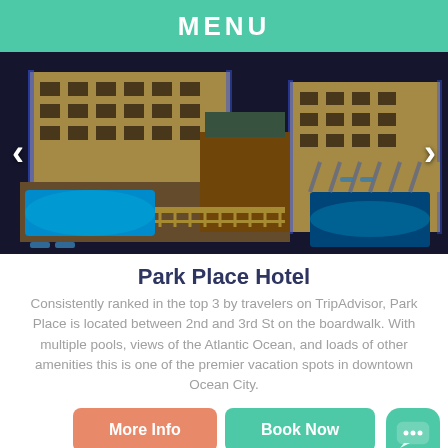MENU
[Figure (photo): Aerial night view of Park Place Hotel showing multiple pools lit with blue lighting, hotel building with yellow exterior and blue accent lights, boardwalk area with lounge chairs]
Park Place Hotel
Consistently ranked in the top 3 by travelers on TripAdvisor, Park Place is located between 2nd and 3rd St on the boardwalk. With multiple pools, views of the Atlantic Ocean, and loads of other amenities this is one of the premier vacation spots in downtown Ocean City.
More Info
Book Now